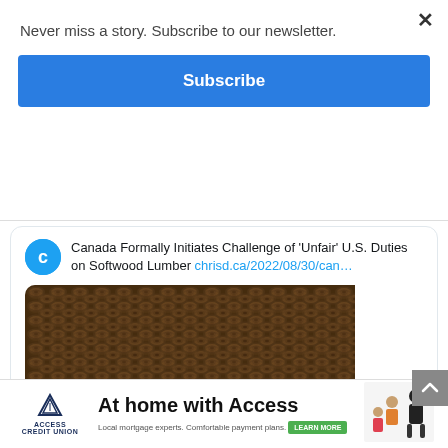Never miss a story. Subscribe to our newsletter.
Subscribe
Canada Formally Initiates Challenge of 'Unfair' U.S. Duties on Softwood Lumber chrisd.ca/2022/08/30/can…
[Figure (photo): Stacked softwood lumber logs viewed from the end, showing cross-section pattern of many cylindrical logs]
[Figure (logo): Access Credit Union logo with triangle/mountain icon]
At home with Access
Local mortgage experts. Comfortable payment plans. LEARN MORE